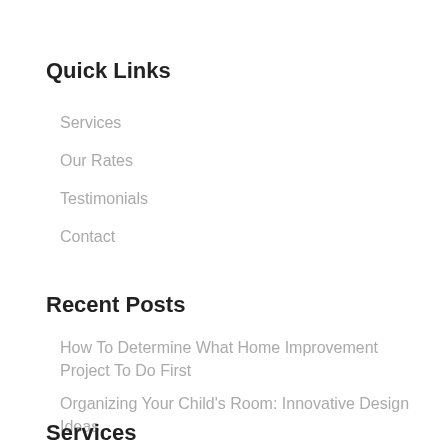Quick Links
Services
Our Rates
Testimonials
Contact
Recent Posts
How To Determine What Home Improvement Project To Do First
Organizing Your Child's Room: Innovative Design Ideas
Services